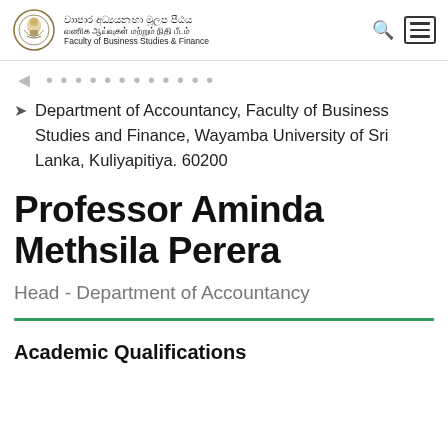Faculty of Business Studies & Finance — Wayamba University
Department of Accountancy, Faculty of Business Studies and Finance, Wayamba University of Sri Lanka, Kuliyapitiya. 60200
Professor Aminda Methsila Perera
Head - Department of Accountancy
Academic Qualifications